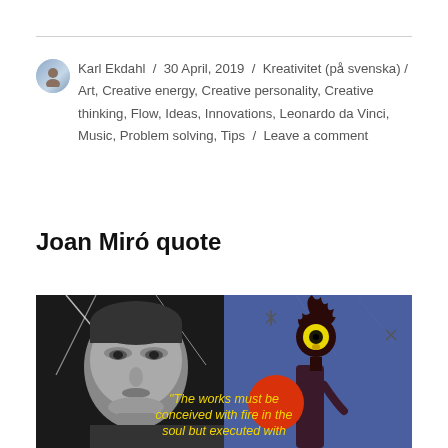Karl Ekdahl / 30 April, 2019 / Kreativitet (på svenska) / Art, Creative energy, Creative personality, Creative thinking, Flow, Ideas, Innovations, Leonardo da Vinci, Music, Problem solving, Tips / Leave a comment
Joan Miró quote
[Figure (photo): Composite image: left half is a black-and-white portrait photo of Joan Miró; right half is a colorful Miró painting on blue background with abstract figures including an eye-like creature with flame, a red circle, and dark figure. Overlaid italic text in yellow reads: "The works must be conceived with fire in the soul but executed with"]